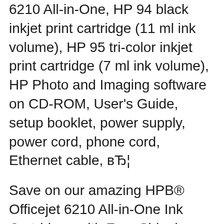6210 All-in-One, HP 94 black inkjet print cartridge (11 ml ink volume), HP 95 tri-color inkjet print cartridge (7 ml ink volume), HP Photo and Imaging software on CD-ROM, User's Guide, setup booklet, power supply, power cord, phone cord, Ethernet cable, вЂ¦
Save on our amazing HPB® Officejet 6210 All-in-One Ink Cartridges with Free Shipping when you buy now online. Get our best deals when you shop direct with HPB®. Save this Book to Read hp officejet 6210 all in one printer drivers PDF eBook at our Online Library. Get hp officejet 6210 all in one printer drivers PDF file for free from our online library